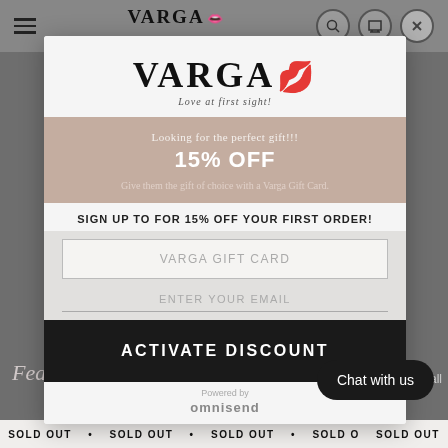VARGA Love at first sight!
[Figure (logo): VARGA brand logo with red lips icon and tagline 'Love at first sight!']
VARGA
Looking for the perfect gift!!! 15% OFF Give them the gift of choice with a Varga Gift Card.
SIGN UP TO FOR 15% OFF YOUR FIRST ORDER!
VARGA GIFT CARD
ENTER YOUR EMAIL
ACTIVATE DISCOUNT
Powered by omnisend
Featured collection
Chat with us
SOLD OUT • SOLD OUT • SOLD OUT • SOLD OUT • SOLD OUT